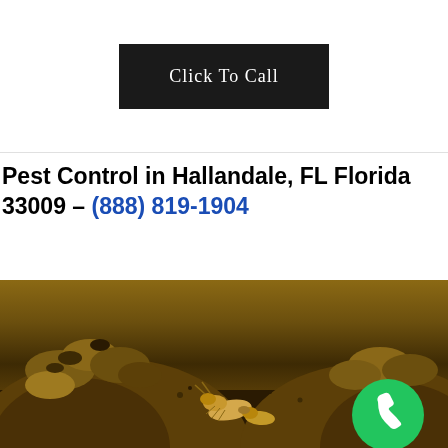[Figure (screenshot): Black button with white text reading 'Click To Call']
Pest Control in Hallandale, FL Florida 33009 – (888) 819-1904
[Figure (photo): Close-up macro photograph of termites and termite mound/colony against a brown earthy background, with a green phone icon button overlay in the bottom right corner]